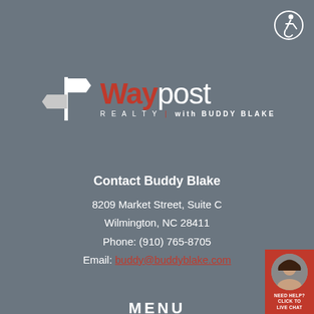[Figure (logo): Waypost Realty with Buddy Blake logo — signpost icon with Way in red and post in white, REALTY | with BUDDY BLAKE tagline]
Contact Buddy Blake
8209 Market Street, Suite C
Wilmington, NC 28411
Phone: (910) 765-8705
Email: buddy@buddyblake.com
MENU
HOME
SEARCH
BUYING
[Figure (photo): Live chat widget with female agent photo and NEED HELP? CLICK TO LIVE CHAT text on red background]